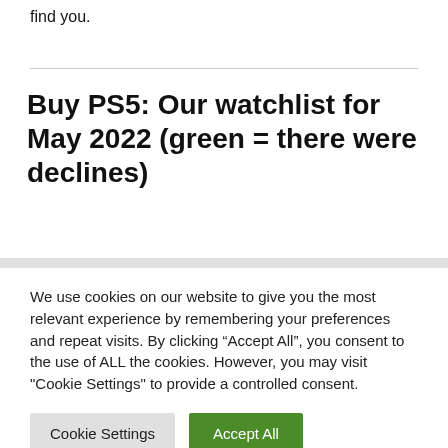find you.
Buy PS5: Our watchlist for May 2022 (green = there were declines)
We use cookies on our website to give you the most relevant experience by remembering your preferences and repeat visits. By clicking “Accept All”, you consent to the use of ALL the cookies. However, you may visit "Cookie Settings" to provide a controlled consent.